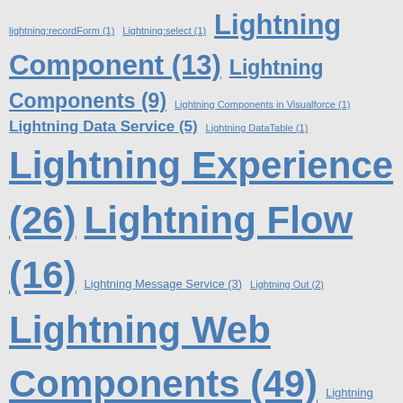Tag cloud with links: lightning:recordForm (1) Lightning:select (1) Lightning Component (13) Lightning Components (9) Lightning Components in Visualforce (1) Lightning Data Service (5) Lightning DataTable (1) Lightning Experience (26) Lightning Flow (16) Lightning Message Service (3) Lightning Out (2) Lightning Web Components (49) Lightning Web Components Open Source (3) Lightning Web Components OSS (2) Live Tracker (1) LMS (1) Local Development Server (1) Lookup (4) LWC (27) LWC Data Service (6) LWC DataTable (3) LWC in Visualforce (1) LWCOSS (1) LWC playground (3) Migrate to Flow (2) Migration (1) Mobile-SDK (1) Modal Popup (3) Multi-Factor Authentication (2) Multi Column Screen Flow (8) Multi Select Lookup (1) Named Credentials (1) NavigationMixin.Navigate (2) Navigation Service (1) Non-Scratch org (1) oAuth (4) Oauth2.0 (4) Open Source (2) Order of Execution (1) Partner API (1) Pass data (1) Platform Event (1) Postman (1) Pre-Release org signup (11) Pre populate Fields (1)